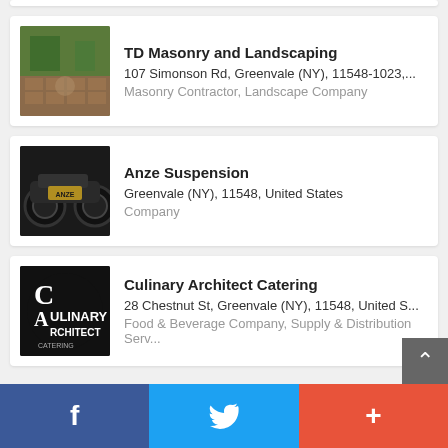TD Masonry and Landscaping | 107 Simonson Rd, Greenvale (NY), 11548-1023,... | Masonry Contractor, Landscape Company
Anze Suspension | Greenvale (NY), 11548, United States | Company
Culinary Architect Catering | 28 Chestnut St, Greenvale (NY), 11548, United S... | Food & Beverage Company, Supply & Distribution Serv...
Activities
f  (Twitter bird)  +